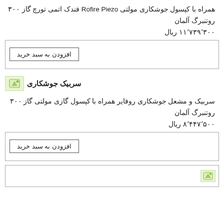همراه با کپسول جوشکاری مولتی Rofire Piezo فندک اتمی تورچ گاز ۳۰۰ روتنبرگ آلمان
۱۱٬۷۳۹٬۳۰۰ ریال
افزودن به سبد خرید
سربیک جوشکاری
سربیک و مشعل جوشکاری روفایر همراه با کپسول گازی مولتی گاز ۳۰۰ روتنبرگ آلمان
۸٬۴۴۷٬۵۰۰ ریال
افزودن به سبد خرید